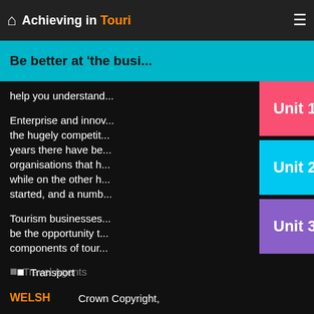Achieving in Tourism
Be better at 'the busi...
help you understand...
Enterprise and inno... the hugely competit... years there have be... organisations that h... while on the other h... started, and a numb...
Tourism businesses... be the opportunity t... components of tou...
Transport
Accommodat...
Attractions
Travel Agents
[Figure (infographic): Three colored unit buttons: Unit 1 (pink/red), Unit 2 (cyan), Unit 3 (purple)]
WELSH    Crown Copyright,